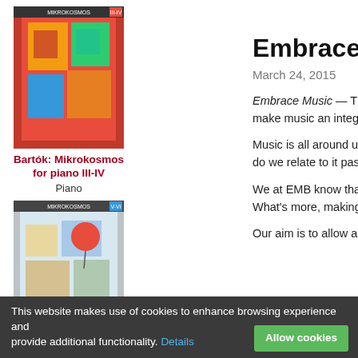[Figure (photo): Album cover for Bartók: Mikrokosmos for piano III-IV, colorful geometric artwork]
Bartók: Mikrokosmos for piano III-IV
Piano
[Figure (photo): Album cover for Bartók: Mikrokosmos for piano V-VI, abstract painting with red balloon]
Bartók: Mikrokosmos for piano V-VI
Piano
[Figure (photo): Colorful children's book cover: Kiss Bea: Hangok mindenhol laknak 1, with illustrated elephants]
Kiss Bea: Hangok mindenhol laknak 1
Recorder
[Figure (photo): Colorful children's book cover: Hangok mindenhol laknak 2, with illustrated elephants and colorful speech bubbles]
Hangok mindenhol laknak 2
Recorder and piano
Embrace music
March 24, 2015
Embrace Music — That is the ... make music an integral part of ...
Music is all around us these d... do we relate to it passively or a...
We at EMB know that making... What's more, making music...
Our aim is to allow as many p...
This website makes use of cookies to enhance browsing experience and provide additional functionality. Details
Allow cookies